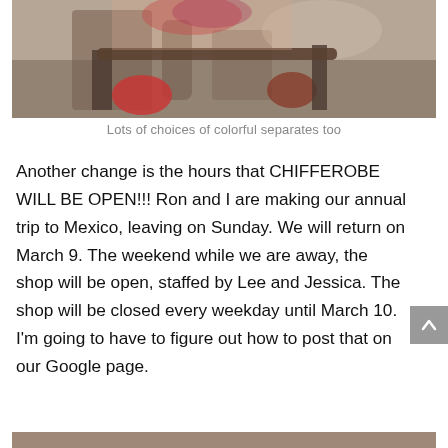[Figure (photo): Partial view of a person sitting outdoors on rustic wooden furniture, wearing colorful clothing including red shoes and a patterned top, with a brick wall and concrete ground visible]
Lots of choices of colorful separates too
Another change is the hours that CHIFFEROBE WILL BE OPEN!!! Ron and I are making our annual trip to Mexico, leaving on Sunday. We will return on March 9. The weekend while we are away, the shop will be open, staffed by Lee and Jessica. The shop will be closed every weekday until March 10. I'm going to have to figure out how to post that on our Google page.
[Figure (photo): Partial view of another photo at bottom of page, cropped]